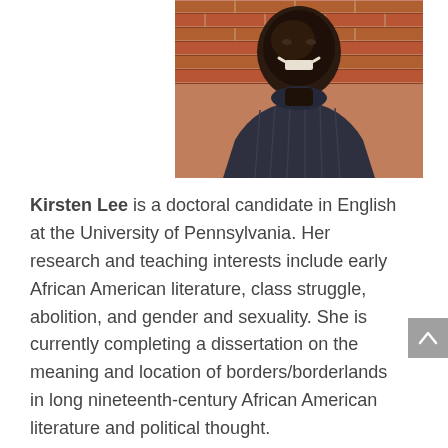[Figure (photo): Portrait photo of Kirsten Lee, a smiling person wearing a dark turtleneck sweater, photographed against a brick wall background. The image is cropped showing face and upper torso.]
Kirsten Lee is a doctoral candidate in English at the University of Pennsylvania. Her research and teaching interests include early African American literature, class struggle, abolition, and gender and sexuality. She is currently completing a dissertation on the meaning and location of borders/borderlands in long nineteenth-century African American literature and political thought.